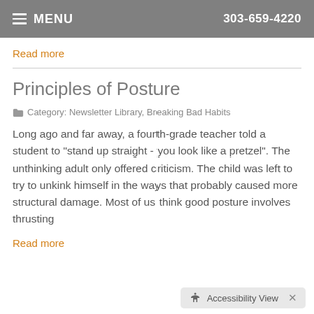MENU   303-659-4220
Read more
Principles of Posture
Category: Newsletter Library, Breaking Bad Habits
Long ago and far away, a fourth-grade teacher told a student to "stand up straight - you look like a pretzel". The unthinking adult only offered criticism. The child was left to try to unkink himself in the ways that probably caused more structural damage. Most of us think good posture involves thrusting
Read more